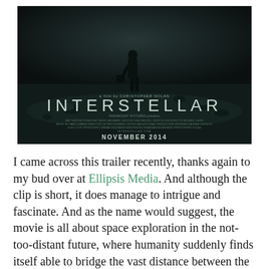[Figure (photo): Interstellar movie poster. Dark moody scene of a figure walking on a beach/barren landscape. Text reads 'a film by CHRISTOPHER NOLAN', 'INTERSTELLAR', production credits, 'INTERSTELLAR.COM', 'NOVEMBER 2014'.]
I came across this trailer recently, thanks again to my bud over at Ellipsis Media. And although the clip is short, it does manage to intrigue and fascinate. And as the name would suggest, the movie is all about space exploration in the not-too-distant future, where humanity suddenly finds itself able to bridge the vast distance between the stars for the first time ever.